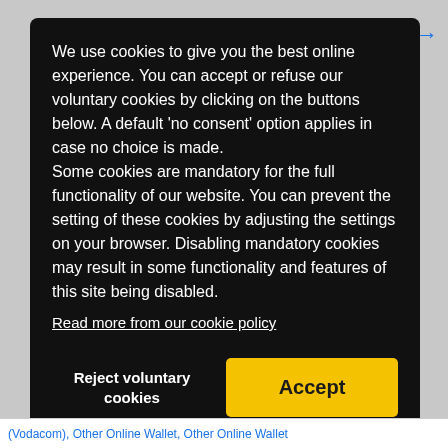We use cookies to give you the best online experience. You can accept or refuse our voluntary cookies by clicking on the buttons below. A default 'no consent' option applies in case no choice is made.
Some cookies are mandatory for the full functionality of our website. You can prevent the setting of these cookies by adjusting the settings on your browser. Disabling mandatory cookies may result in some functionality and features of this site being disabled.
Read more from our cookie policy
Reject voluntary cookies
Accept
(Vodacom), Other Online Wallet, Other Online Wallet